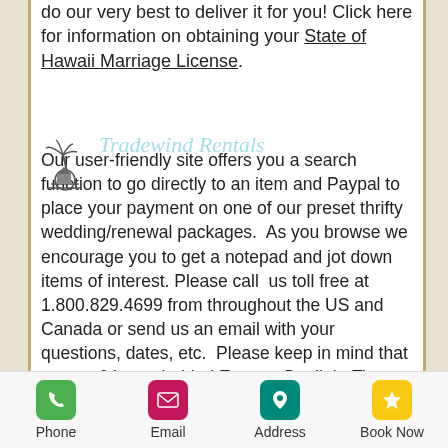do our very best to deliver it for you! Click here for information on obtaining your State of Hawaii Marriage License.
Tradewind Rentals
Our user-friendly site offers you a search function to go directly to an item and Paypal to place your payment on one of our preset thrifty wedding/renewal packages.  As you browse we encourage you to get a notepad and jot down items of interest. Please call  us toll free at 1.800.829.4699 from throughout the US and Canada or send us an email with your questions, dates, etc.  Please keep in mind that we are 6 hours behind Eastern Daylight Time and 12 hours behind Universal Coordinated Time. Please feel free to request customizaiton of any of our packages or la carte
Phone | Email | Address | Book Now